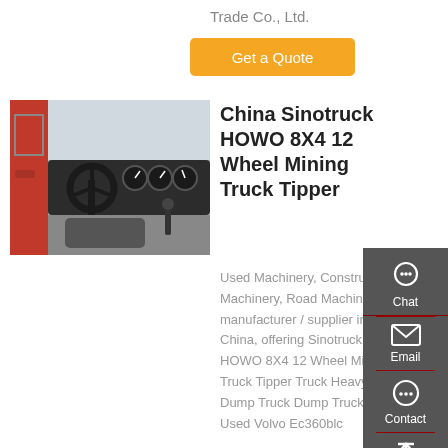Trade Co., Ltd.
Get a Quote
[Figure (photo): Interior cabin view of a Sinotruck HOWO mining dump truck showing steering wheel and dashboard]
China Sinotruck HOWO 8X4 12 Wheel Mining Truck Tipper
Used Machinery, Construction Machinery, Road Machinery manufacturer / supplier in China, offering Sinotruck HOWO 8X4 12 Wheel Mining Truck Tipper Truck Heavy Dump Truck Dump Trucks, Used Volvo Ec360blc